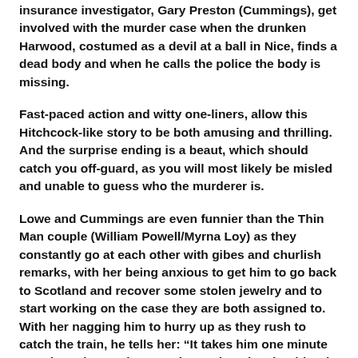insurance investigator, Gary Preston (Cummings), get involved with the murder case when the drunken Harwood, costumed as a devil at a ball in Nice, finds a dead body and when he calls the police the body is missing.
Fast-paced action and witty one-liners, allow this Hitchcock-like story to be both amusing and thrilling. And the surprise ending is a beaut, which should catch you off-guard, as you will most likely be misled and unable to guess who the murderer is.
Lowe and Cummings are even funnier than the Thin Man couple (William Powell/Myrna Loy) as they constantly go at each other with gibes and churlish remarks, with her being anxious to get him to go back to Scotland and recover some stolen jewelry and to start working on the case they are both assigned to. With her nagging him to hurry up as they rush to catch the train, he tells her: “It takes him one minute to strip and one minute to dress, that she should wait for him,